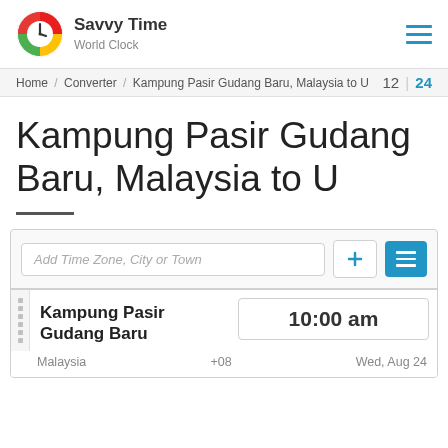Savvy Time World Clock
Home / Converter / Kampung Pasir Gudang Baru, Malaysia to U   12 | 24
Kampung Pasir Gudang Baru, Malaysia to U
Add Time Zone, City or Town
| Location | Time | Offset | Date |
| --- | --- | --- | --- |
| Kampung Pasir Gudang Baru | 10:00 am |  |  |
| Malaysia |  | +08 | Wed, Aug 24 |